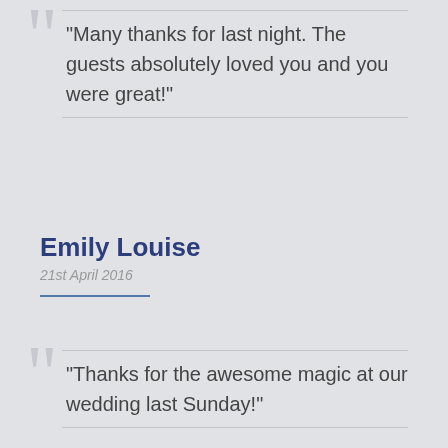"Many thanks for last night. The guests absolutely loved you and you were great!"
Emily Louise
21st April 2016
"Thanks for the awesome magic at our wedding last Sunday!"
Michelle Williams
15th April 2016